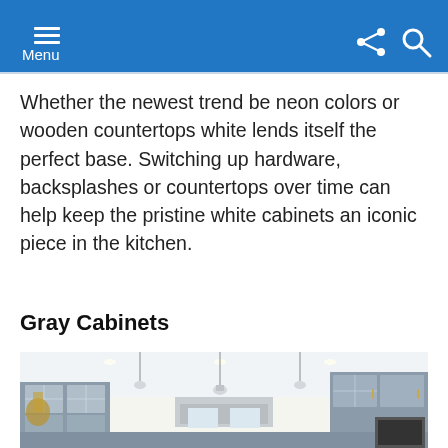Menu
Whether the newest trend be neon colors or wooden countertops white lends itself the perfect base. Switching up hardware, backsplashes or countertops over time can help keep the pristine white cabinets an iconic piece in the kitchen.
Gray Cabinets
[Figure (photo): Kitchen interior with gray cabinets, white ceiling with pendant lights, glass-front upper cabinets, and stainless appliances]